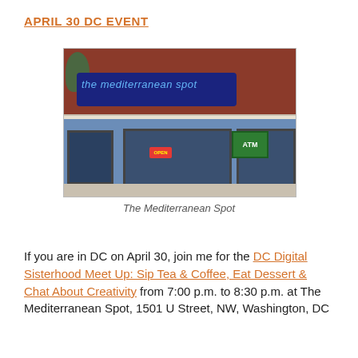APRIL 30 DC EVENT
[Figure (photo): Exterior photo of The Mediterranean Spot restaurant storefront, a blue-painted building with large windows, an ATM sign, an OPEN sign, and a blue lit sign reading 'the mediterranean spot' above a white decorative canopy. The building is set against a red brick structure.]
The Mediterranean Spot
If you are in DC on April 30, join me for the DC Digital Sisterhood Meet Up: Sip Tea & Coffee, Eat Dessert & Chat About Creativity from 7:00 p.m. to 8:30 p.m. at The Mediterranean Spot, 1501 U Street, NW, Washington, DC